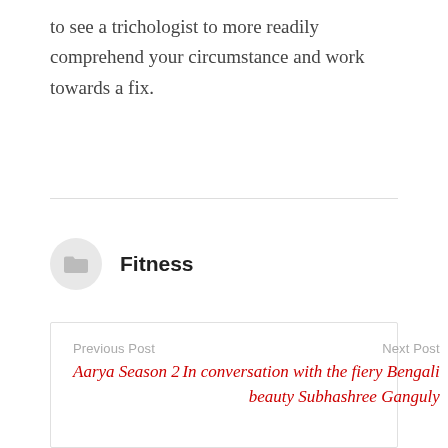to see a trichologist to more readily comprehend your circumstance and work towards a fix.
Fitness
Previous Post
Aarya Season 2
Next Post
In conversation with the fiery Bengali beauty Subhashree Ganguly